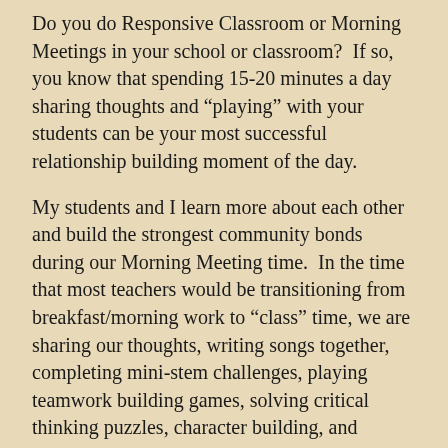Do you do Responsive Classroom or Morning Meetings in your school or classroom? If so, you know that spending 15-20 minutes a day sharing thoughts and “playing” with your students can be your most successful relationship building moment of the day.
My students and I learn more about each other and build the strongest community bonds during our Morning Meeting time. In the time that most teachers would be transitioning from breakfast/morning work to “class” time, we are sharing our thoughts, writing songs together, completing mini-stem challenges, playing teamwork building games, solving critical thinking puzzles, character building, and learning about each other’s strengths and unique personalities in ways that just can’t happen during any other class time.